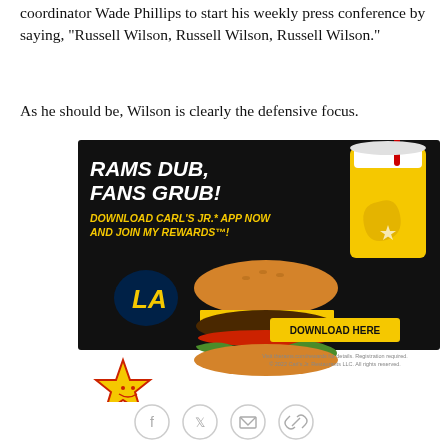coordinator Wade Phillips to start his weekly press conference by saying, "Russell Wilson, Russell Wilson, Russell Wilson."
As he should be, Wilson is clearly the defensive focus.
[Figure (photo): Carl's Jr. advertisement for LA Rams promotion: 'RAMS DUB, FANS GRUB! DOWNLOAD CARL'S JR.* APP NOW AND JOIN MY REWARDS"!' with LA Rams logo, burger, drink cup, Carl's Jr. star mascot, and a yellow 'DOWNLOAD HERE' button. Fine print: 'Visit therams.com/rewards for details. Registration required. © 2022 Carl's Jr. Restaurants LLC. All rights reserved.']
[Figure (other): Social sharing icons: Facebook, Twitter, Email, Link]